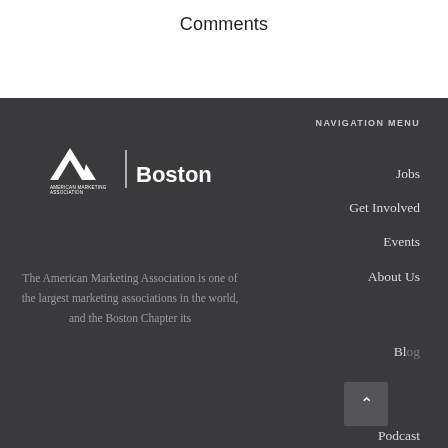Comments
[Figure (logo): American Marketing Association Boston chapter logo — white AMA arrow mark, vertical bar, and 'Boston' in bold white text]
The American Marketing Association is one of the largest marketing associations in the world, and the Boston Chapter its
NAVIGATION MENU
Jobs
Get Involved
Events
About Us
Blog
Podcast